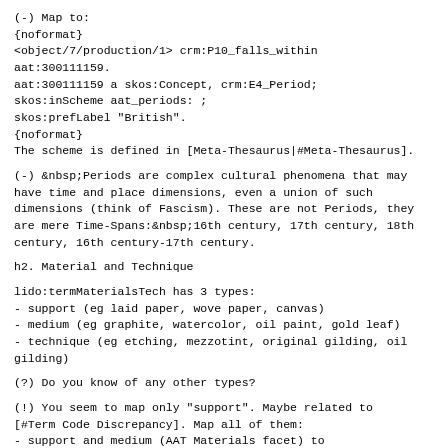(-) Map to:
{noformat}
<object/7/production/1> crm:P10_falls_within
aat:300111159.
aat:300111159 a skos:Concept, crm:E4_Period;
skos:inScheme aat_periods: ;
skos:prefLabel "British".
{noformat}
The scheme is defined in [Meta-Thesaurus|#Meta-Thesaurus].
(-)  Periods are complex cultural phenomena that may have time and place dimensions, even a union of such dimensions (think of Fascism). These are not Periods, they are mere Time-Spans: 16th century, 17th century, 18th century, 16th century-17th century.
h2. Material and Technique
lido:termMaterialsTech has 3 types:
- support (eg laid paper, wove paper, canvas)
- medium (eg graphite, watercolor, oil paint, gold leaf)
- technique (eg etching, mezzotint, original gilding, oil
gilding)
(?) Do you know of any other types?
(!) You seem to map only "support". Maybe related to [#Term Code Discrepancy]. Map all of them:
- support and medium (AAT Materials facet) to
P45_consists_of (E57_Material)
- technique (AAT Processes and Techniques facet) to
P32_used_general_technique (E55_Type)